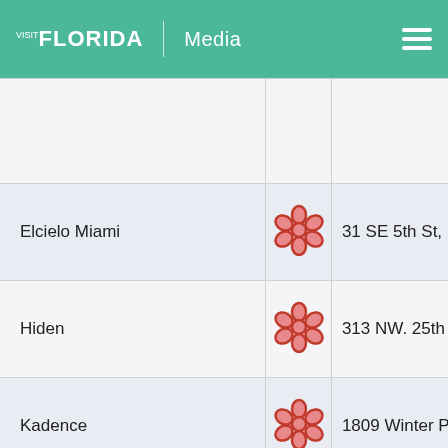VISIT FLORIDA | Media
| Restaurant | Rating | Address |
| --- | --- | --- |
|  |  |  |
| Elcielo Miami | [Michelin flower icon] | 31 SE 5th St, Mi… |
| Hiden | [Michelin flower icon] | 313 NW. 25th St… |
| Kadence | [Michelin flower icon] | 1809 Winter Pa… |
| Knife & Spoon | [Michelin flower icon] | 4012 Central Fl… |
| Le Jardinier Miami | [Michelin flower icon] | 151 NE 41st St… |